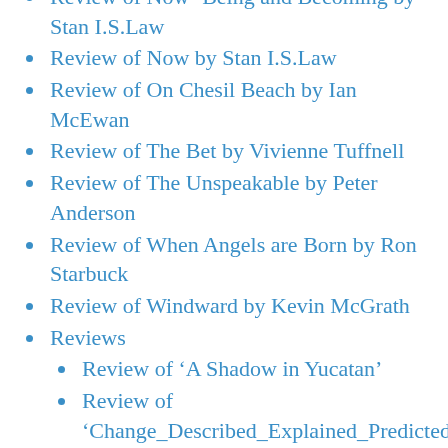Review of Now -Being and Becoming by Stan I.S.Law
Review of Now by Stan I.S.Law
Review of On Chesil Beach by Ian McEwan
Review of The Bet by Vivienne Tuffnell
Review of The Unspeakable by Peter Anderson
Review of When Angels are Born by Ron Starbuck
Review of Windward by Kevin McGrath
Reviews
Review of ‘A Shadow in Yucatan’
Review of ‘Change_Described_Explained_Predicted’ by Paul Drewfs.
Review of Alma Lolloon by Joe Linker